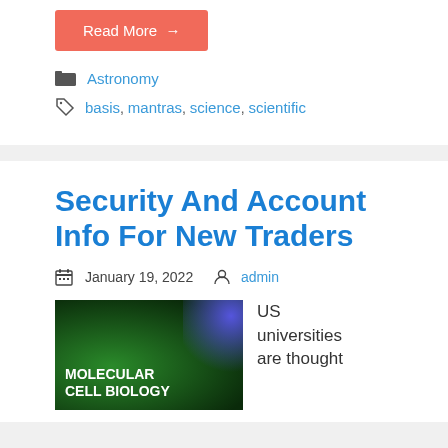Read More →
Astronomy
basis, mantras, science, scientific
Security And Account Info For New Traders
January 19, 2022  admin
[Figure (photo): Book cover: Molecular Cell Biology on dark green background with blue accent]
US universities are thought